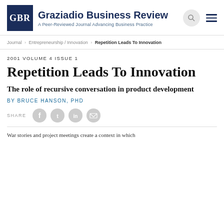GBR | Graziadio Business Review | A Peer-Reviewed Journal Advancing Business Practice
Journal > Entrepreneurship / Innovation > Repetition Leads To Innovation
2001 VOLUME 4 ISSUE 1
Repetition Leads To Innovation
The role of recursive conversation in product development
By Bruce Hanson, PhD
SHARE
War stories and project meetings create a context in which